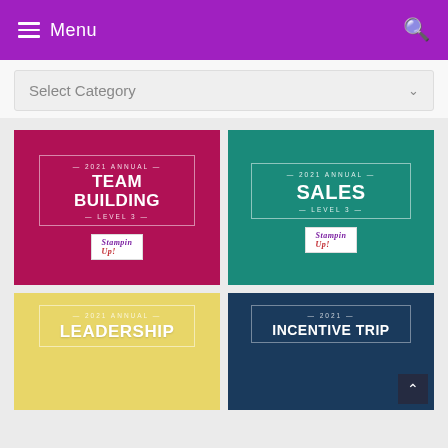Menu
Select Category
[Figure (illustration): 2021 Annual Team Building Level 3 card with crimson background and Stampin Up logo]
[Figure (illustration): 2021 Annual Sales Level 3 card with teal background and Stampin Up logo]
[Figure (illustration): 2021 Annual Leadership card with yellow background, partially visible]
[Figure (illustration): 2021 Incentive Trip card with navy background, partially visible]